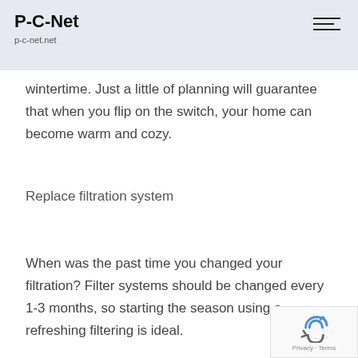P-C-Net
p-c-net.net
wintertime. Just a little of planning will guarantee that when you flip on the switch, your home can become warm and cozy.
Replace filtration system
When was the past time you changed your filtration? Filter systems should be changed every 1-3 months, so starting the season using a refreshing filtering is ideal.